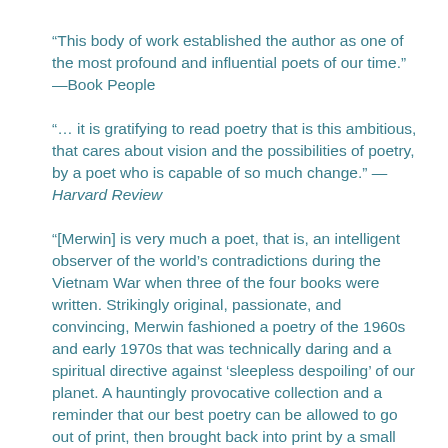“This body of work established the author as one of the most profound and influential poets of our time.” —Book People
“… it is gratifying to read poetry that is this ambitious, that cares about vision and the possibilities of poetry, by a poet who is capable of so much change.” —Harvard Review
“[Merwin] is very much a poet, that is, an intelligent observer of the world’s contradictions during the Vietnam War when three of the four books were written. Strikingly original, passionate, and convincing, Merwin fashioned a poetry of the 1960s and early 1970s that was technically daring and a spiritual directive against ‘sleepless despoiling’ of our planet. A hauntingly provocative collection and a reminder that our best poetry can be allowed to go out of print, then brought back into print by a small but exciting publisher.” —Gary Soto, Small Press